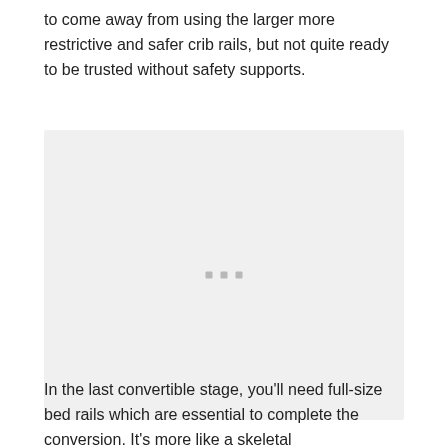to come away from using the larger more restrictive and safer crib rails, but not quite ready to be trusted without safety supports.
[Figure (photo): A large light gray placeholder image box with three small gray square dots centered near the middle, representing a loading or placeholder image.]
In the last convertible stage, you'll need full-size bed rails which are essential to complete the conversion. It's more like a skeletal